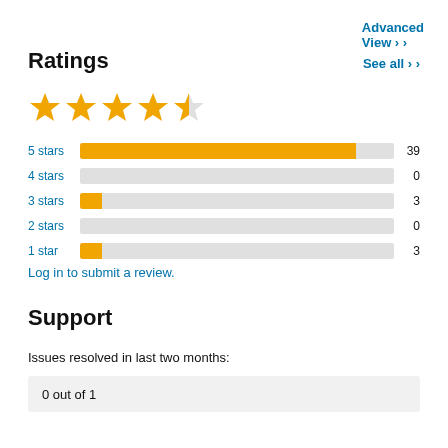Advanced View
Ratings
See all >
[Figure (other): 4.5 out of 5 stars rating displayed as 4 full gold stars and 1 half gold star]
[Figure (bar-chart): Ratings breakdown]
Log in to submit a review.
Support
Issues resolved in last two months:
0 out of 1